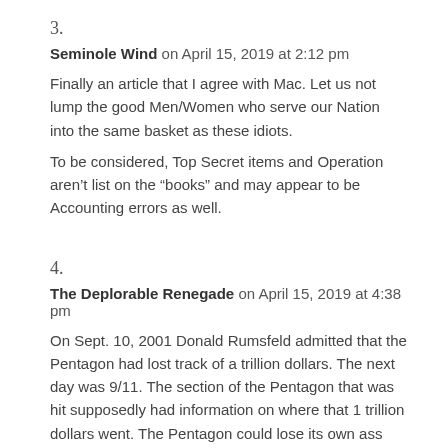3.
Seminole Wind on April 15, 2019 at 2:12 pm
Finally an article that I agree with Mac. Let us not lump the good Men/Women who serve our Nation into the same basket as these idiots.
To be considered, Top Secret items and Operation aren’t list on the “books” and may appear to be Accounting errors as well.
4.
The Deplorable Renegade on April 15, 2019 at 4:38 pm
On Sept. 10, 2001 Donald Rumsfeld admitted that the Pentagon had lost track of a trillion dollars. The next day was 9/11. The section of the Pentagon that was hit supposedly had information on where that 1 trillion dollars went. The Pentagon could lose its own ass and wouldn’t know it until much later.